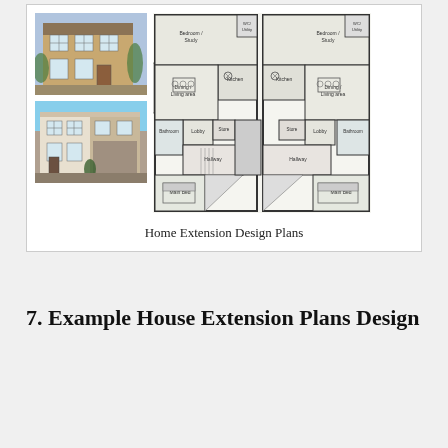[Figure (other): Composite image showing two house exterior photos on the left and a floor plan drawing on the right, illustrating a home extension design]
Home Extension Design Plans
7. Example House Extension Plans Design